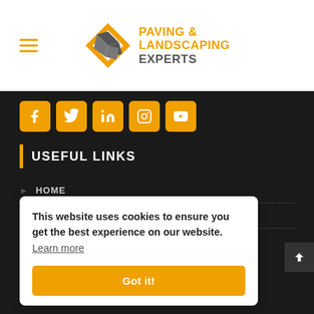[Figure (logo): Paving & Landscaping Experts logo with diamond-shaped interlocking paving icon and orange/grey text]
USEFUL LINKS
HOME
ABOUT US
This website uses cookies to ensure you get the best experience on our website. Learn more
Got it!